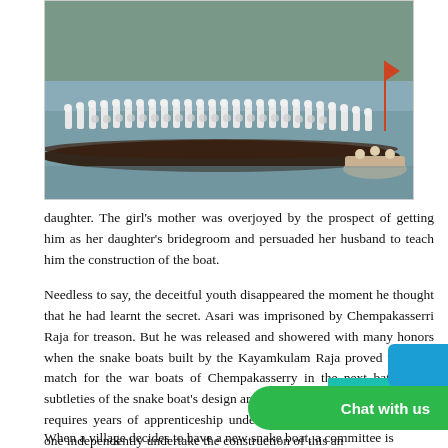[Figure (photo): A long traditional snake boat (vallam) on a river with many rowers dressed in white uniforms paddling in unison; another small boat visible at the right side.]
daughter. The girl's mother was overjoyed by the prospect of getting him as her daughter's bridegroom and persuaded her husband to teach him the construction of the boat.
Needless to say, the deceitful youth disappeared the moment he thought that he had learnt the secret. Asari was imprisoned by Chempakasserri Raja for treason. But he was released and showered with many honors when the snake boats built by the Kayamkulam Raja proved to be no match for the war boats of Chempakasserry in the next battle. The subtleties of the snake boat's design are hard to pickup and even today it requires years of apprenticeship under a master boat architect before one independently undertake the construction of this an
When a village decides to have a new snake boat, a committee is